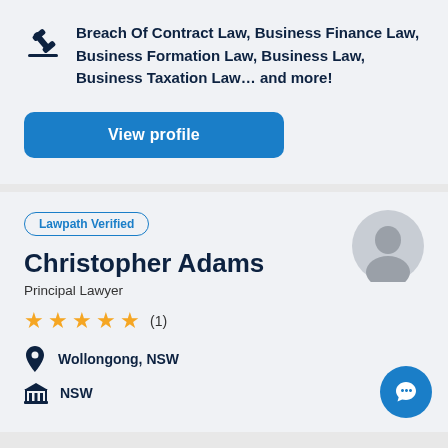Breach Of Contract Law, Business Finance Law, Business Formation Law, Business Law, Business Taxation Law... and more!
View profile
Lawpath Verified
Christopher Adams
Principal Lawyer
★★★★★ (1)
Wollongong, NSW
NSW